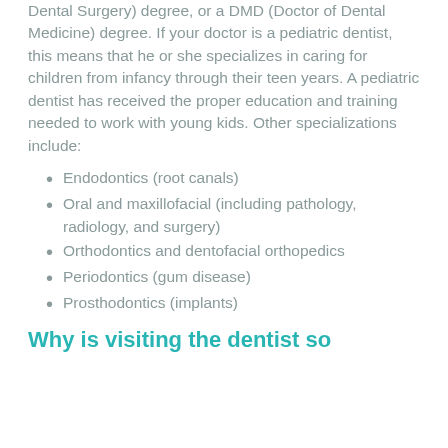Dental Surgery) degree, or a DMD (Doctor of Dental Medicine) degree. If your doctor is a pediatric dentist, this means that he or she specializes in caring for children from infancy through their teen years. A pediatric dentist has received the proper education and training needed to work with young kids. Other specializations include:
Endodontics (root canals)
Oral and maxillofacial (including pathology, radiology, and surgery)
Orthodontics and dentofacial orthopedics
Periodontics (gum disease)
Prosthodontics (implants)
Why is visiting the dentist so